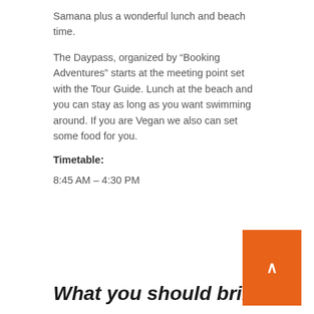Samana plus a wonderful lunch and beach time.
The Daypass, organized by “Booking Adventures” starts at the meeting point set with the Tour Guide. Lunch at the beach and you can stay as long as you want swimming around. If you are Vegan we also can set some food for you.
Timetable:
8:45 AM – 4:30 PM
What you should bring?